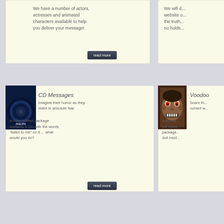We have a number of actors, actresses and animated characters available to help you deliver your message!
We will d... website o... the truth... no holds...
[Figure (photo): Philips CD with blue metallic sheen and PHILIPS branding]
CD Messages
Imagine their horror as they listen in absolute fear
A hand written package contains a CD with the words "listen to me" on it ... what would you do?
[Figure (photo): Zombie face with wide eyes and teeth showing]
Voodoo
Scare th... cursed w...
Just ima... will react... package... doll insid...